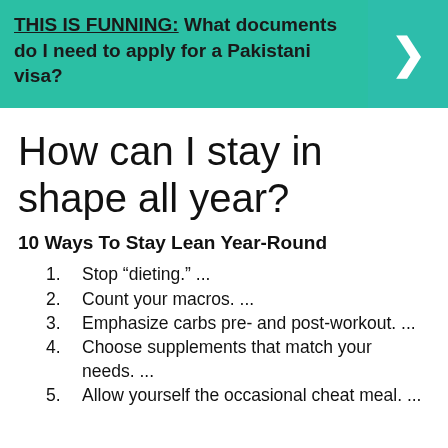[Figure (infographic): Teal banner with text 'THIS IS FUNNING: What documents do I need to apply for a Pakistani visa?' and a right-arrow chevron on the right side]
How can I stay in shape all year?
10 Ways To Stay Lean Year-Round
1. Stop “dieting.” ...
2. Count your macros. ...
3. Emphasize carbs pre- and post-workout. ...
4. Choose supplements that match your needs. ...
5. Allow yourself the occasional cheat meal. ...